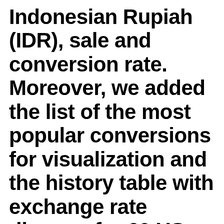Indonesian Rupiah (IDR), sale and conversion rate. Moreover, we added the list of the most popular conversions for visualization and the history table with exchange rate diagram for 60 US Dollar (USD) to Indonesian Rupiah